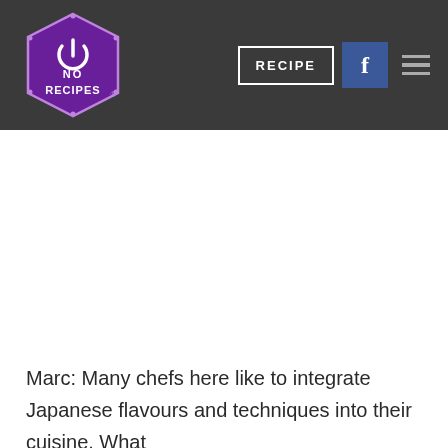[Figure (logo): No Recipes logo — hexagonal purple badge with 'NO RECIPES' text and a power button icon]
RECIPE  f  ≡
Marc: Many chefs here like to integrate Japanese flavours and techniques into their cuisine. What would be your advice for someone that wants to truly